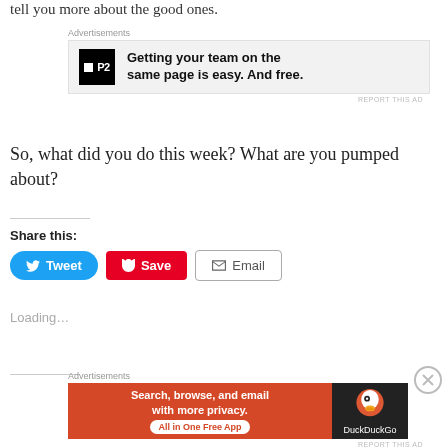tell you more about the good ones.
[Figure (other): Advertisement banner for P2 with text: Getting your team on the same page is easy. And free.]
So, what did you do this week?  What are you pumped about?
Share this:
[Figure (other): Social share buttons: Tweet, Save, Email]
Loading...
[Figure (other): Advertisement banner for DuckDuckGo: Search, browse, and email with more privacy. All in One Free App]